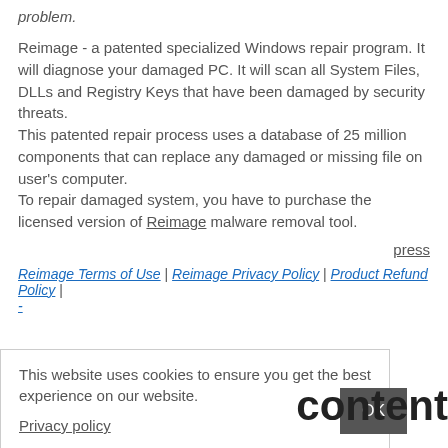problem.
Reimage - a patented specialized Windows repair program. It will diagnose your damaged PC. It will scan all System Files, DLLs and Registry Keys that have been damaged by security threats.
This patented repair process uses a database of 25 million components that can replace any damaged or missing file on user's computer.
To repair damaged system, you have to purchase the licensed version of Reimage malware removal tool.
press
Reimage Terms of Use | Reimage Privacy Policy | Product Refund Policy |
This website uses cookies to ensure you get the best experience on our website.
Privacy policy
OK
content